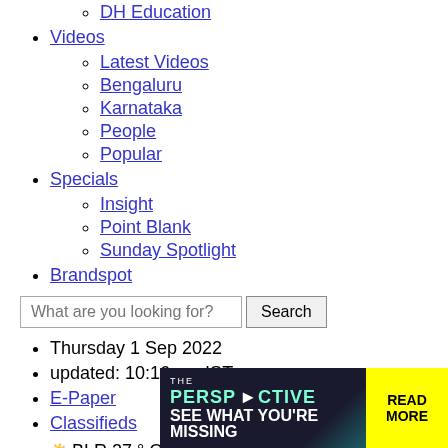DH Education
Videos
Latest Videos
Bengaluru
Karnataka
People
Popular
Specials
Insight
Point Blank
Sunday Spotlight
Brandspot
What are you looking for? Search
Thursday 1 Sep 2022
updated: 10:16 am IST
E-Paper
Classifieds
BLR 27 ° C Clouds
Sensex: 59119.09-417.98 (down arrow)
Nifty: 17680.1-79.2 (down arrow)
[Figure (screenshot): Advertisement banner: THE PERSPECTIVE - SEE WHAT YOU'RE MISSING, READ MORE]